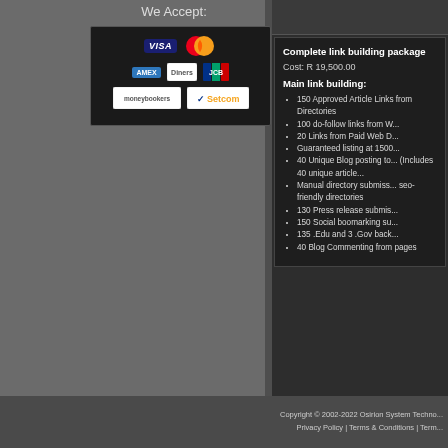We Accept:
[Figure (logo): Payment logos: VISA, MasterCard, AMEX, Diners Club, JCB, Moneybookers, Setcom]
Complete link building package
Cost: R 19,500.00
Main link building:
150 Approved Article Links from Directories
100 do-follow links from W...
20 Links from Paid Web D...
Guaranteed listing at 1500...
40 Unique Blog posting to... (Includes 40 unique article...
Manual directory submiss... seo-friendly directories
130 Press release submis...
150 Social boomarking su...
135 .Edu and 3 .Gov back...
40 Blog Commenting from pages
Copyright © 2002-2022 Osirion System Techno... | Privacy Policy | Terms & Conditions | Term...